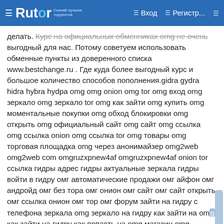Rutor — Вход — Регистр...
делать. Курс на официальных обменниках omg не очень выгодный для нас. Потому советуем использовать обменные пункты из доверенного списка www.bestchange.ru . Где куда более выгодный курс и большое количество способов пополнения.gidra gydra hidra hybra hydpa omg omg onion omg tor omg вход omg зеркало omg зеркало tor omg как зайти omg купить omg моментальные покупки omg обход блокировки omg открыть omg официальный сайт omg сайт omg ссылка omg ссылка onion omg ссылка tor omg товары omg торговая площадка omg через анонимайзер omg2web omg2web com omgruzxpnew4af omgruzxpnew4af onion tor ссылка гидры адрес гидры актуальные зеркала гидры войти в гидру омг автоматические продажи омг айфон омг андройд омг без тора омг онион омг сайт омг сайт открыть омг ссылка онион омг тор омг форум зайти на гидру с телефона зеркала omg зеркало на гидру как зайти на omg как зайти на гидру как попасть на omg магазин omg магазин омг обход блокировок омг открыть гидру официальный сайт гидры свежие зеркала omg ссылка на гидру ссылки omg